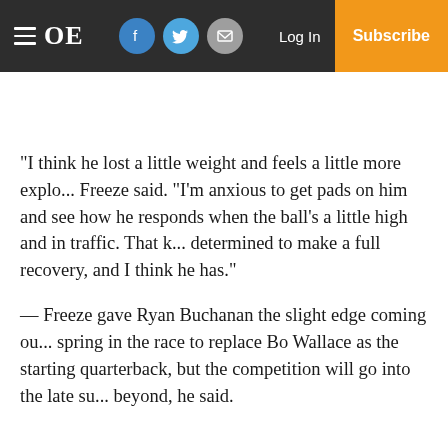OE — Log In — Subscribe
“I think he lost a little weight and feels a little more explo... Freeze said. “I’m anxious to get pads on him and see how he responds when the ball’s a little high and in traffic. That k... determined to make a full recovery, and I think he has.”
— Freeze gave Ryan Buchanan the slight edge coming out of spring in the race to replace Bo Wallace as the starting quarterback, but the competition will go into the late su... beyond, he said.